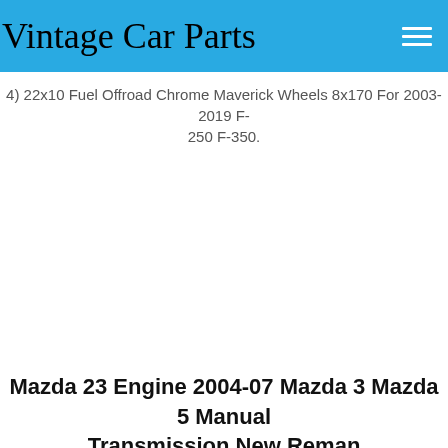Vintage Car Parts
4) 22x10 Fuel Offroad Chrome Maverick Wheels 8x170 For 2003-2019 F- 250 F-350.
$2858.90
Mazda 23 Engine 2004-07 Mazda 3 Mazda 5 Manual Transmission New Reman